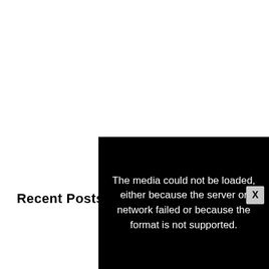Recent Posts
Learning Golang with no prog…
Remote Debugging in Golang a…
GoLang Read File Line by Line…
[Figure (screenshot): Black modal dialog box with white text reading 'The media could not be loaded, either because the server or network failed or because the format is not supported.' with a close X button in the top right corner.]